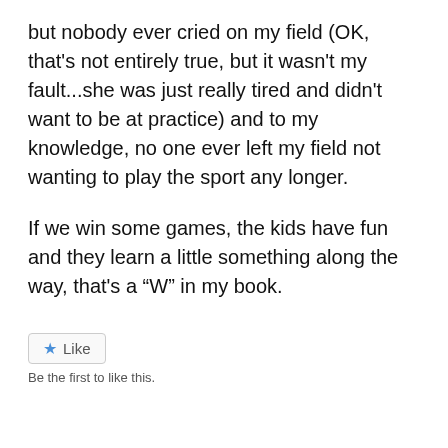but nobody ever cried on my field (OK, that's not entirely true, but it wasn't my fault...she was just really tired and didn't want to be at practice) and to my knowledge, no one ever left my field not wanting to play the sport any longer.
If we win some games, the kids have fun and they learn a little something along the way, that's a “W” in my book.
Like
Be the first to like this.